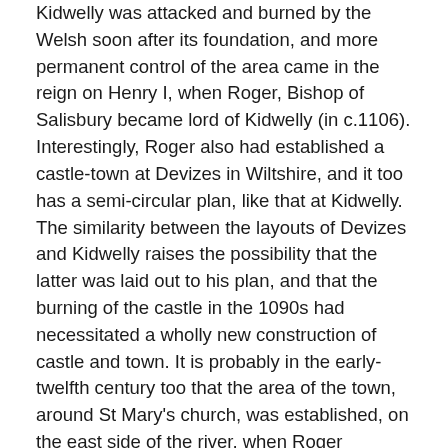Kidwelly was attacked and burned by the Welsh soon after its foundation, and more permanent control of the area came in the reign on Henry I, when Roger, Bishop of Salisbury became lord of Kidwelly (in c.1106). Interestingly, Roger also had established a castle-town at Devizes in Wiltshire, and it too has a semi-circular plan, like that at Kidwelly. The similarity between the layouts of Devizes and Kidwelly raises the possibility that the latter was laid out to his plan, and that the burning of the castle in the 1090s had necessitated a wholly new construction of castle and town. It is probably in the early-twelfth century too that the area of the town, around St Mary's church, was established, on the east side of the river, when Roger established a Benedictine priory there in c.1114. The priory seems to have developed its own market place (in Lady Street) and in effect Kidwelly functioned as a twin town, the castle town on one side of the river and the priory's town on the other. The early-twelfth century development of Kidwelly, around St Mary's, parallels